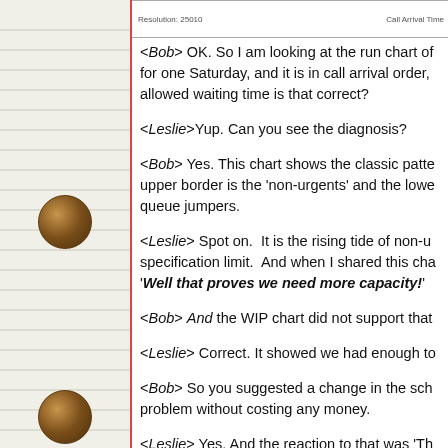[Figure (screenshot): Small chart thumbnail showing run chart header with 'Resolution: 25010' on left and 'Call Arrival Time' on right]
<Bob> OK. So I am looking at the run chart of for one Saturday, and it is in call arrival order, allowed waiting time is that correct?
<Leslie>Yup. Can you see the diagnosis?
<Bob> Yes. This chart shows the classic patte upper border is the 'non-urgents' and the lowe queue jumpers.
<Leslie> Spot on. It is the rising tide of non-u specification limit. And when I shared this cha 'Well that proves we need more capacity!'
<Bob> And the WIP chart did not support that
<Leslie> Correct. It showed we had enough to
<Bob> So you suggested a change in the sch problem without costing any money.
<Leslie> Yes. And the reaction to that was 'Th